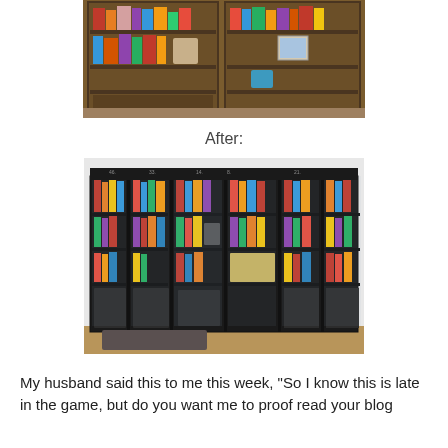[Figure (photo): Before photo of a brown wooden bookcase with books and items arranged on shelves, partially open with items spilling out]
After:
[Figure (photo): After photo of a large dark black wall-to-wall bookcase unit with glass doors, neatly organized books and items on multiple shelves]
My husband said this to me this week, "So I know this is late in the game, but do you want me to proof read your blog